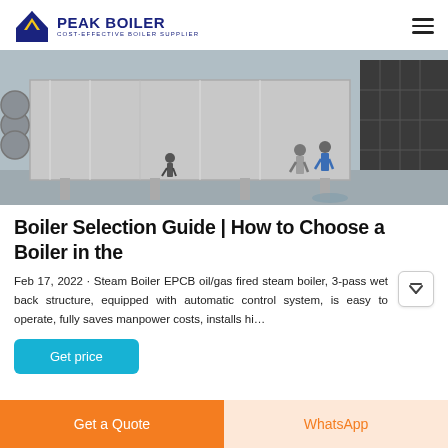PEAK BOILER — COST-EFFECTIVE BOILER SUPPLIER
[Figure (photo): Industrial boiler installation outdoors; large metallic rectangular equipment with two workers standing nearby, ductwork visible on the left, and a dark building in the background.]
Boiler Selection Guide | How to Choose a Boiler in the
Feb 17, 2022 · Steam Boiler EPCB oil/gas fired steam boiler, 3-pass wet back structure, equipped with automatic control system, is easy to operate, fully saves manpower costs, installs hi...
Get price
Get a Quote
WhatsApp